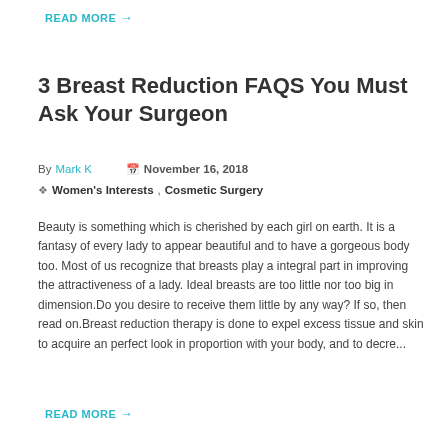READ MORE →
3 Breast Reduction FAQS You Must Ask Your Surgeon
By Mark K   November 16, 2018
 Women's Interests , Cosmetic Surgery
Beauty is something which is cherished by each girl on earth. It is a fantasy of every lady to appear beautiful and to have a gorgeous body too. Most of us recognize that breasts play a integral part in improving the attractiveness of a lady. Ideal breasts are too little nor too big in dimension.Do you desire to receive them little by any way? If so, then read on.Breast reduction therapy is done to expel excess tissue and skin to acquire an perfect look in proportion with your body, and to decre...
READ MORE →